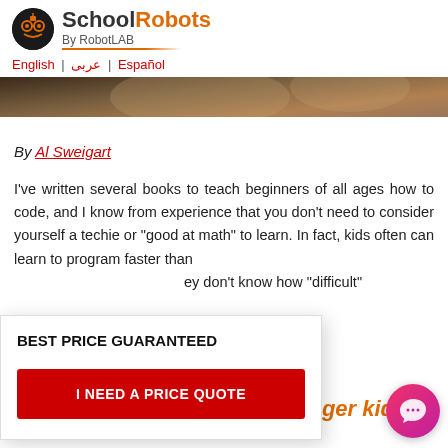School Robots By RobotLAB
English | عربی | Español
[Figure (photo): Partial photo of a person, dark/warm tones]
By Al Sweigart
I've written several books to teach beginners of all ages how to code, and I know from experience that you don't need to consider yourself a techie or "good at math" to learn. In fact, kids often can learn to program faster than ey don't know how "difficult"
BEST PRICE GUARANTEED
I NEED A PRICE QUOTE
unger kids, Pyth